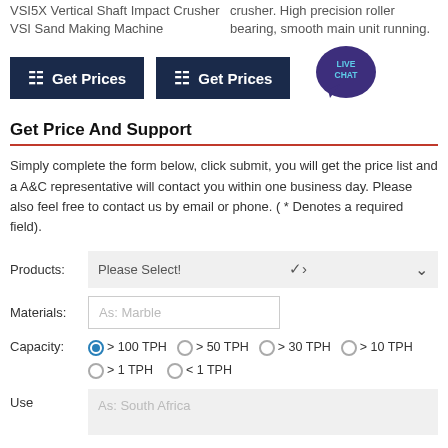VSI5X Vertical Shaft Impact Crusher VSI Sand Making Machine
crusher. High precision roller bearing, smooth main unit running.
[Figure (screenshot): Two 'Get Prices' buttons with calculator icons and a Live Chat speech bubble icon]
Get Price And Support
Simply complete the form below, click submit, you will get the price list and a A&C representative will contact you within one business day. Please also feel free to contact us by email or phone. ( * Denotes a required field).
Products: Please Select! (dropdown)
Materials: As: Marble (input)
Capacity: > 100 TPH > 50 TPH > 30 TPH > 10 TPH > 1 TPH < 1 TPH (radio buttons)
Use — As: South Africa (input)